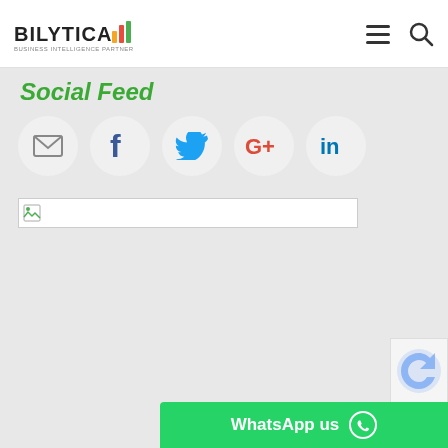BILYTICA
Social Feed
[Figure (infographic): Social media sharing icons row: email (envelope), Facebook (f), Twitter (bird), Google+ (G+), LinkedIn (in) — each inside a light grey circle]
[Figure (other): Broken image placeholder with small icon inside a white bordered bar]
[Figure (other): Green WhatsApp us bar at bottom right with WhatsApp phone icon]